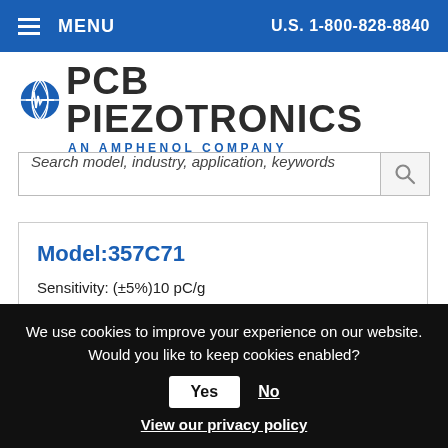MENU   U.S. 1-800-828-8840
[Figure (logo): PCB Piezotronics logo with globe icon and tagline 'AN AMPHENOL COMPANY']
Search model, industry, application, keywords
Model:357C71
Sensitivity: (±5%)10 pC/g
We use cookies to improve your experience on our website. Would you like to keep cookies enabled? Yes  No  View our privacy policy